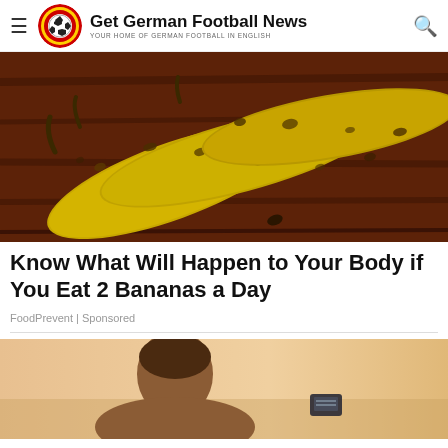Get German Football News — YOUR HOME OF GERMAN FOOTBALL IN ENGLISH
[Figure (photo): Three overripe spotted bananas on a dark wooden surface]
Know What Will Happen to Your Body if You Eat 2 Bananas a Day
FoodPrevent | Sponsored
[Figure (photo): Person seen from behind looking at a device, warm sunset background]